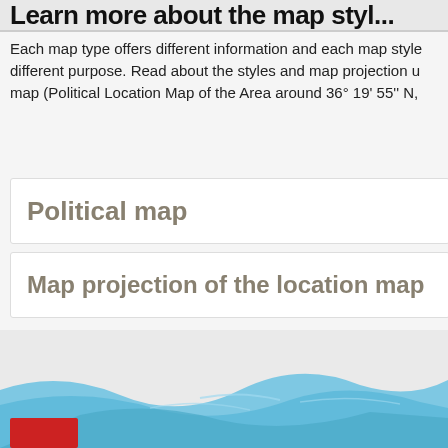Learn more about the map style...
Each map type offers different information and each map style serves a different purpose. Read about the styles and map projection used in this map (Political Location Map of the Area around 36° 19' 55" N,
Political map
Map projection of the location map
[Figure (map): Bottom portion of a political location map showing blue water/sea areas with a red rectangle marker, partially visible at bottom of page.]